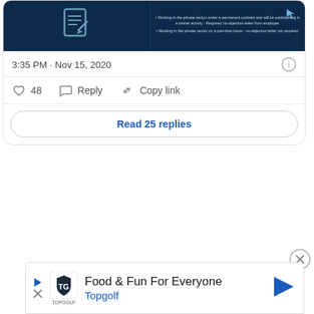[Figure (screenshot): Tweet card showing a dark navy blue infographic image about working in the private sector and no-objection letters]
3:35 PM · Nov 15, 2020
48  Reply  Copy link
Read 25 replies
[Figure (screenshot): Advertisement banner for Topgolf: Food & Fun For Everyone]
Food & Fun For Everyone Topgolf